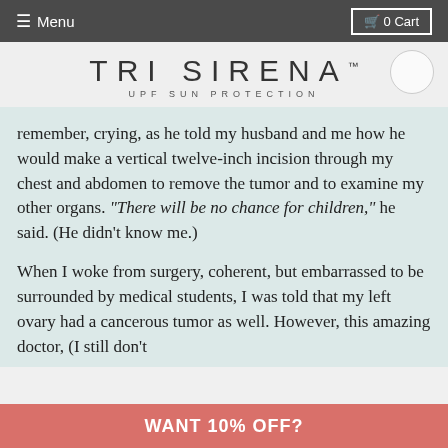≡ Menu   🛒 0 Cart
[Figure (logo): Tri Sirena UPF Sun Protection logo with TM mark and circular icon]
remember, crying, as he told my husband and me how he would make a vertical twelve-inch incision through my chest and abdomen to remove the tumor and to examine my other organs. "There will be no chance for children," he said. (He didn't know me.)
When I woke from surgery, coherent, but embarrassed to be surrounded by medical students, I was told that my left ovary had a cancerous tumor as well. However, this amazing doctor, (I still don't
WANT 10% OFF?